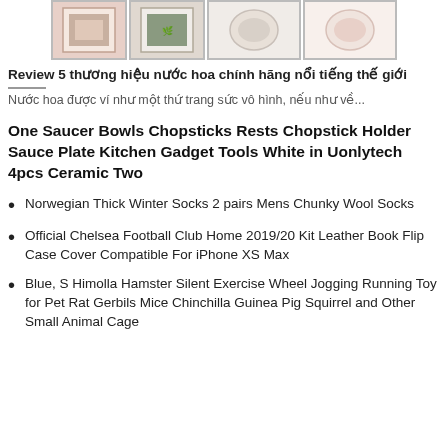[Figure (photo): Four product images shown at top of page: two framed pictures in pink/rose packaging, one round white/cream product, one round pink/white product.]
Review 5 thương hiệu nước hoa chính hãng nổi tiếng thế giới
Nước hoa được ví như một thứ trang sức vô hình, nếu như về...
One Saucer Bowls Chopsticks Rests Chopstick Holder Sauce Plate Kitchen Gadget Tools White in Uonlytech 4pcs Ceramic Two
Norwegian Thick Winter Socks 2 pairs Mens Chunky Wool Socks
Official Chelsea Football Club Home 2019/20 Kit Leather Book Flip Case Cover Compatible For iPhone XS Max
Blue, S Himolla Hamster Silent Exercise Wheel Jogging Running Toy for Pet Rat Gerbils Mice Chinchilla Guinea Pig Squirrel and Other Small Animal Cage